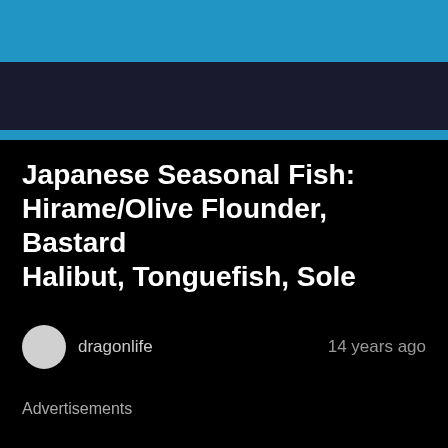Japanese Seasonal Fish: Hirame/Olive Flounder, Bastard Halibut, Tonguefish, Sole
dragonlife   14 years ago
Advertisements